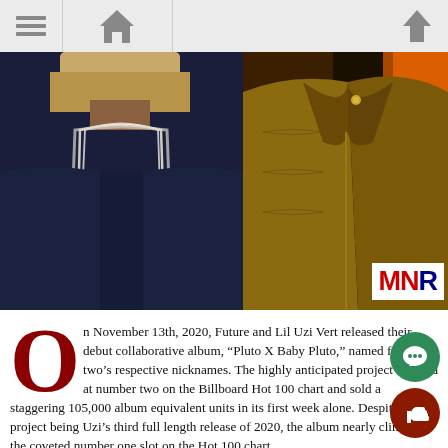[Navigation bar with menu, home, and up arrow icons]
[Figure (photo): Two side-by-side photos: left shows a person wearing multiple large diamond chain necklaces with cross pendant over a blue shirt; right shows a dark golden/bronze leather jacket with orange accents in the background. MNR logo in white box at bottom right of the right photo.]
On November 13th, 2020, Future and Lil Uzi Vert released their debut collaborative album, “Pluto X Baby Pluto,” named for the two’s respective nicknames. The highly anticipated project debuted at number two on the Billboard Hot 100 chart and sold a staggering 105,000 album equivalent units in its first week alone. Despite the project being Uzi’s third full length release of 2020, the album nearly clinched the coveted number one slot on the Hot 100 chart.